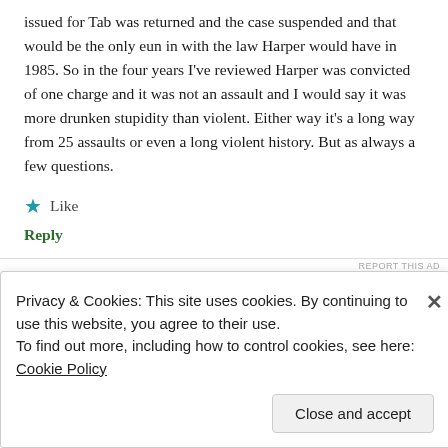issued for Tab was returned and the case suspended and that would be the only eun in with the law Harper would have in 1985. So in the four years I've reviewed Harper was convicted of one charge and it was not an assault and I would say it was more drunken stupidity than violent. Either way it's a long way from 25 assaults or even a long violent history. But as always a few questions.
Like
Reply
REPORT THIS AD
Privacy & Cookies: This site uses cookies. By continuing to use this website, you agree to their use.
To find out more, including how to control cookies, see here: Cookie Policy
Close and accept